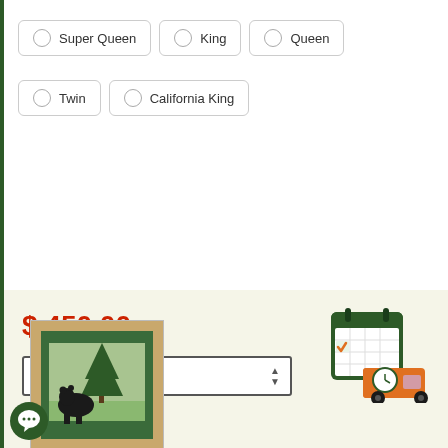Super Queen
King
Queen
Twin
California King
$ 450.00
[Figure (screenshot): Quantity selector input box showing value 1 with up/down arrows]
[Figure (photo): Bear and pine tree quilt artwork in a wooden frame with green border]
[Figure (illustration): Calendar with delivery truck and clock icon in dark green and orange colors]
[Figure (illustration): Green circular chat bubble icon in bottom left corner]